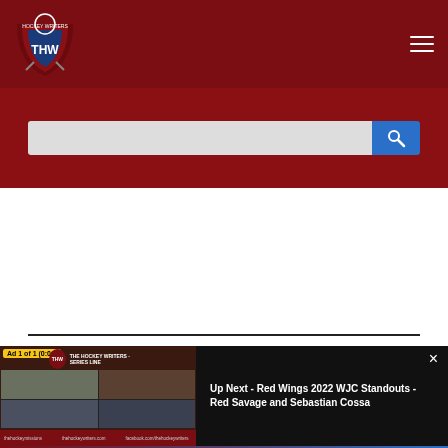THW - The Hockey Writers
[Figure (screenshot): THW (The Hockey Writers) website navigation bar with dark red background, THW shield logo on left, hamburger menu icon on right]
[Figure (screenshot): Dark red search bar area with a text input field and blue search button with magnifying glass icon]
[Figure (screenshot): Video player overlay showing 'Ad 1 of 1 (0:06)' label, hockey writers panel discussion video thumbnail with four people, and 'Up Next - Red Wings 2022 WJC Standouts - Red Savage and Sebastian Cossa' text on black panel with close X button]
Up Next - Red Wings 2022 WJC Standouts - Red Savage and Sebastian Cossa
[Figure (screenshot): Bottom advertisement strip for 'Fighting Diabetes? This...' with food image thumbnail and n/a text, THW logo, and blue circle arrow button]